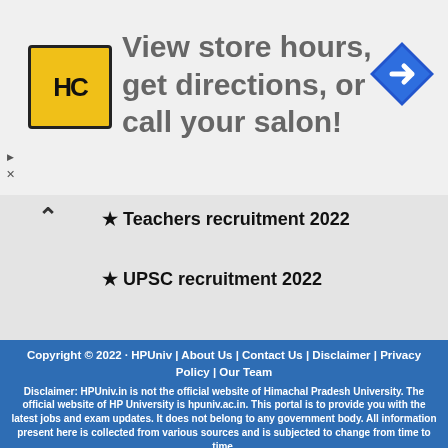[Figure (advertisement): Ad banner with HC salon logo, text 'View store hours, get directions, or call your salon!', and a blue diamond direction arrow icon on the right.]
★ Teachers recruitment 2022
★ UPSC recruitment 2022
Copyright © 2022 · HPUniv | About Us | Contact Us | Disclaimer | Privacy Policy | Our Team
Disclaimer: HPUniv.in is not the official website of Himachal Pradesh University. The official website of HP University is hpuniv.ac.in. This portal is to provide you with the latest jobs and exam updates. It does not belong to any government body. All information present here is collected from various sources and is subjected to change from time to time.